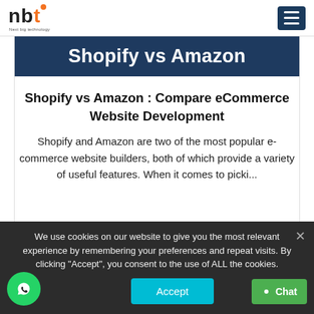nbt - Next Big Technology | Shopify vs Amazon
[Figure (logo): nbt Next Big Technology logo with orange and black stylized letters]
Shopify vs Amazon
Shopify vs Amazon : Compare eCommerce Website Development
Shopify and Amazon are two of the most popular e-commerce website builders, both of which provide a variety of useful features. When it comes to picki...
We use cookies on our website to give you the most relevant experience by remembering your preferences and repeat visits. By clicking "Accept", you consent to the use of ALL the cookies.